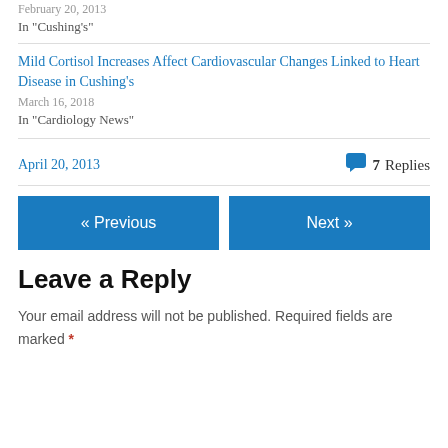February 20, 2013
In "Cushing's"
Mild Cortisol Increases Affect Cardiovascular Changes Linked to Heart Disease in Cushing's
March 16, 2018
In "Cardiology News"
April 20, 2013   7 Replies
« Previous
Next »
Leave a Reply
Your email address will not be published. Required fields are marked *